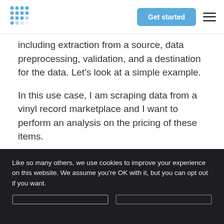Get started
including extraction from a source, data preprocessing, validation, and a destination for the data. Let's look at a simple example.
In this use case, I am scraping data from a vinyl record marketplace and I want to perform an analysis on the pricing of these items.
[Figure (infographic): ETL Pipeline diagram showing icons for a web scraper, Python, a database, and Prefect on a dark background]
Like so many others, we use cookies to improve your experience on this website. We assume you're OK with it, but you can opt out if you want.